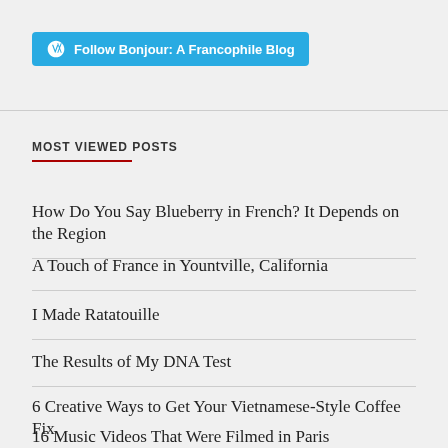[Figure (other): WordPress Follow button: 'Follow Bonjour: A Francophile Blog' in blue pill-shaped button with WordPress logo]
MOST VIEWED POSTS
How Do You Say Blueberry in French? It Depends on the Region
A Touch of France in Yountville, California
I Made Ratatouille
The Results of My DNA Test
6 Creative Ways to Get Your Vietnamese-Style Coffee Fix
16 Music Videos That Were Filmed in Paris